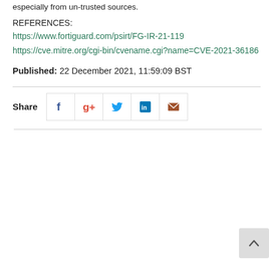especially from un-trusted sources.
REFERENCES:
https://www.fortiguard.com/psirt/FG-IR-21-119
https://cve.mitre.org/cgi-bin/cvename.cgi?name=CVE-2021-36186
Published: 22 December 2021, 11:59:09 BST
[Figure (infographic): Share buttons row with Facebook, Google+, Twitter, LinkedIn, Email icons]